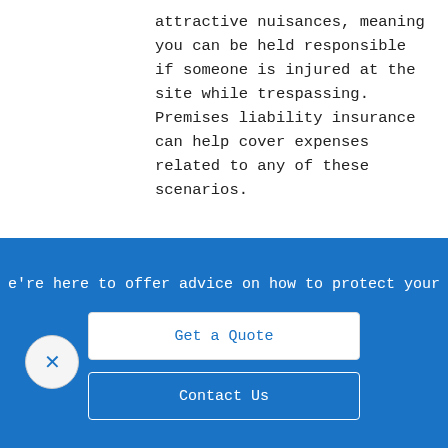attractive nuisances, meaning you can be held responsible if someone is injured at the site while trespassing. Premises liability insurance can help cover expenses related to any of these scenarios.
Environmental impairment insurance offers additional protection.
Environmental pollution...
e're here to offer advice on how to protect your
Get a Quote
Contact Us